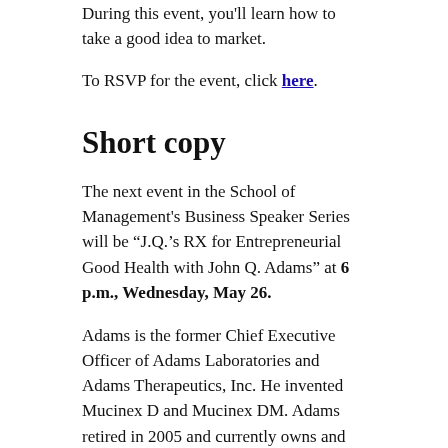During this event, you'll learn how to take a good idea to market.
To RSVP for the event, click here.
Short copy
The next event in the School of Management's Business Speaker Series will be “J.Q.’s RX for Entrepreneurial Good Health with John Q. Adams” at 6 p.m., Wednesday, May 26.
Adams is the former Chief Executive Officer of Adams Laboratories and Adams Therapeutics, Inc. He invented Mucinex D and Mucinex DM. Adams retired in 2005 and currently owns and operates Rough Creek Lodge, a luxury resort and conference center near Dallas.